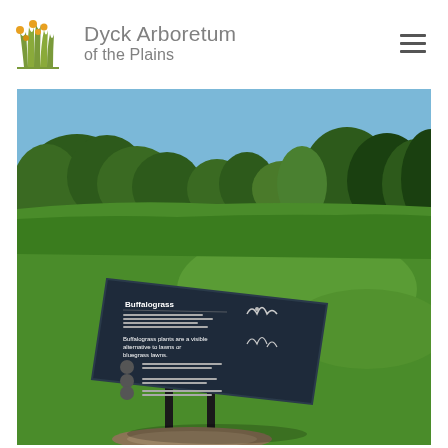[Figure (logo): Dyck Arboretum of the Plains logo with stylized grass and yellow dot plant illustration]
[Figure (photo): Outdoor photo of Dyck Arboretum of the Plains showing a large green lawn surrounded by trees under a blue sky, with a dark informational sign about Buffalograss in the foreground on two posts]